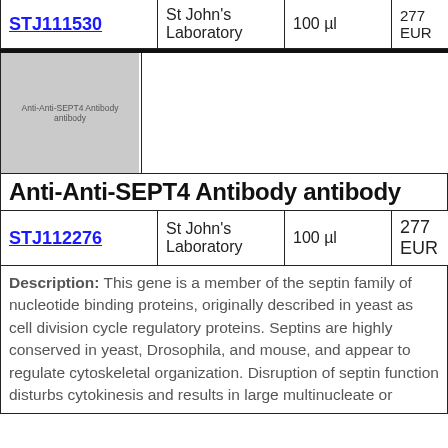| Product | Supplier | Volume | Price |
| --- | --- | --- | --- |
| STJ111530 | St John's Laboratory | 100 µl | 277 EUR |
[Figure (photo): Placeholder image for Anti-Anti-SEPT4 Antibody antibody]
Anti-Anti-SEPT4 Antibody antibody
| Product | Supplier | Volume | Price |
| --- | --- | --- | --- |
| STJ112276 | St John's Laboratory | 100 µl | 277 EUR |
Description: This gene is a member of the septin family of nucleotide binding proteins, originally described in yeast as cell division cycle regulatory proteins. Septins are highly conserved in yeast, Drosophila, and mouse, and appear to regulate cytoskeletal organization. Disruption of septin function disturbs cytokinesis and results in large multinucleate or